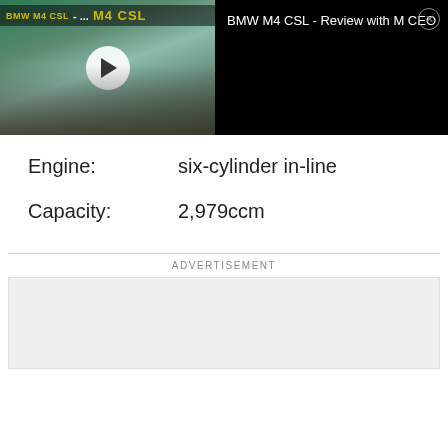[Figure (screenshot): BMW M4 CSL video player with thumbnail showing two people next to a BMW car outdoors, play button overlay, and info panel on black background showing title 'BMW M4 CSL - Review with M CEO' with close button]
Engine:	six-cylinder in-line
Capacity:	2,979ccm
ADVERTISEMENT